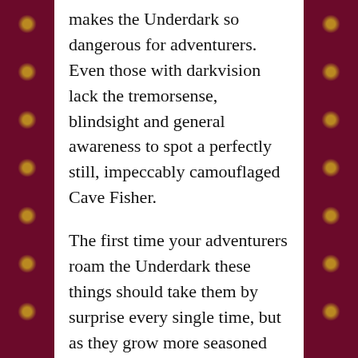makes the Underdark so dangerous for adventurers. Even those with darkvision lack the tremorsense, blindsight and general awareness to spot a perfectly still, impeccably camouflaged Cave Fisher.
The first time your adventurers roam the Underdark these things should take them by surprise every single time, but as they grow more seasoned and experienced (both the players AND the characters) they will become more and more adept at spotting and avoiding such encounters. Ambush predators follow a simple ethos: If I do not have the element of surprise, I cannot win the fight. An ambush predator will strike hard, fast and unseen. The moment a creature does not go down fast, or pr...